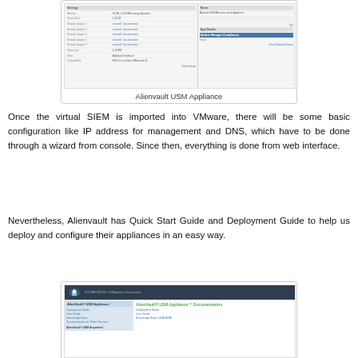[Figure (screenshot): Screenshot of Alienvault USM Appliance configuration interface showing hardware specifications table]
Alienvault USM Appliance
Once the virtual SIEM is imported into VMware, there will be some basic configuration like IP address for management and DNS, which have to be done through a wizard from console. Since then, everything is done from web interface.
Nevertheless, Alienvault has Quick Start Guide and Deployment Guide to help us deploy and configure their appliances in an easy way.
[Figure (screenshot): Screenshot of AlienVault USM Appliance Documentation page showing navigation menu with Deployment Guide, User Guide, Knowledge Base, and Documentation for Older Versions links]